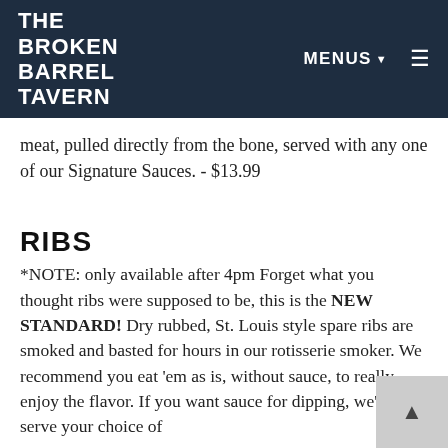THE BROKEN BARREL TAVERN | MENUS ▼ ≡
meat, pulled directly from the bone, served with any one of our Signature Sauces. - $13.99
RIBS
*NOTE: only available after 4pm Forget what you thought ribs were supposed to be, this is the NEW STANDARD! Dry rubbed, St. Louis style spare ribs are smoked and basted for hours in our rotisserie smoker. We recommend you eat 'em as is, without sauce, to really enjoy the flavor. If you want sauce for dipping, we'll serve your choice of